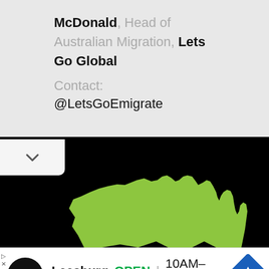McDonald, Head of Australian Migration, Lets Go Global
Contact:
@LetsGoEmigrate
[Figure (map): Black background map showing a green silhouette of Australia (Northern Territory/top region visible), partial view]
Leesburg  OPEN  10AM–9PM
241 Fort Evans Rd NE, Leesburg